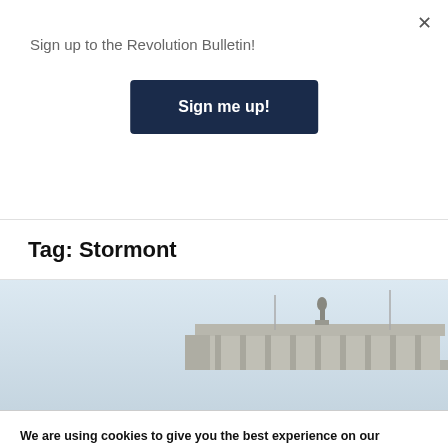Sign up to the Revolution Bulletin!
Sign me up!
Tag: Stormont
[Figure (photo): Photograph of a neoclassical building rooftop with a statue on top, against a pale blue-grey sky.]
We are using cookies to give you the best experience on our website. By continuing to use our site you are agreeing to our cookies policy
You can find out more about which cookies we are using or switch them off in settings.
Accept